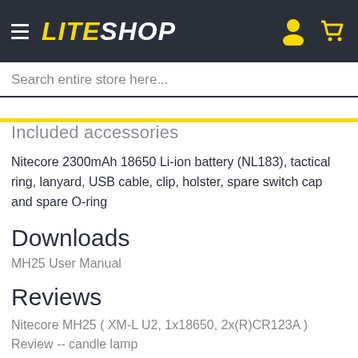LITESHOP
Search entire store here...
Included accessories
Nitecore 2300mAh 18650 Li-ion battery (NL183), tactical ring, lanyard, USB cable, clip, holster, spare switch cap and spare O-ring
Downloads
MH25 User Manual
Reviews
Nitecore MH25 ( XM-L U2, 1x18650, 2x(R)CR123A ) Review -- candle lamp